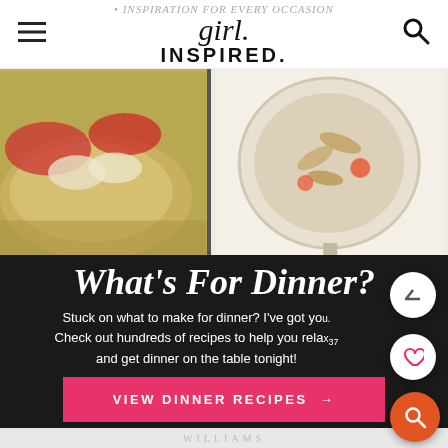girl. INSPIRATION FOR EVERY OCCASION INSPIRED.
[Figure (photo): Two food photos side by side: left shows a flatbread pizza with tomatoes and herbs, right shows a pot of pasta with colorful vegetables]
What's For Dinner?
Stuck on what to make for dinner? I've got you. Check out hundreds of recipes to help you relax and get dinner on the table tonight!
VIEW DINNER RECIPES →